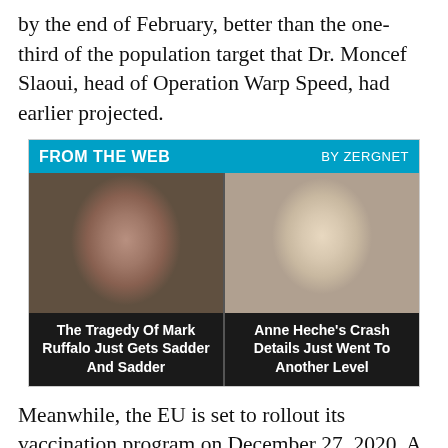by the end of February, better than the one-third of the population target that Dr. Moncef Slaoui, head of Operation Warp Speed, had earlier projected.
[Figure (other): From The Web by Zergnet advertisement widget showing two celebrity photos: left card shows a man (Mark Ruffalo) with caption 'The Tragedy Of Mark Ruffalo Just Gets Sadder And Sadder'; right card shows a woman (Anne Heche) with caption 'Anne Heche's Crash Details Just Went To Another Level']
Meanwhile, the EU is set to rollout its vaccination program on December 27, 2020. A few days ago, Moderna Inc. announced that the European Commission had exercised its option to purchase an additional 80M of its COVID-19 vaccine candidate, expanding the company's total order